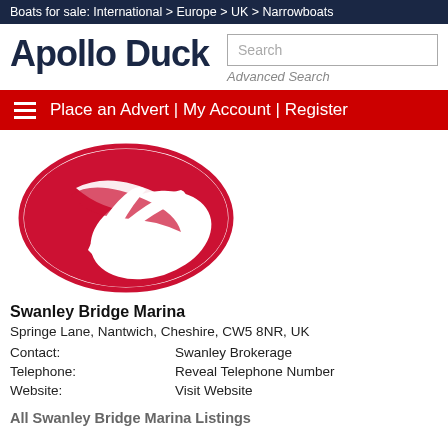Boats for sale: International > Europe > UK > Narrowboats
Apollo Duck
Search
Advanced Search
Place an Advert | My Account | Register
[Figure (logo): Swanley Bridge Marina red oval logo with white stylized check/wing mark]
Swanley Bridge Marina
Springe Lane, Nantwich, Cheshire, CW5 8NR, UK
| Contact: | Swanley Brokerage |
| Telephone: | Reveal Telephone Number |
| Website: | Visit Website |
All Swanley Bridge Marina Listings